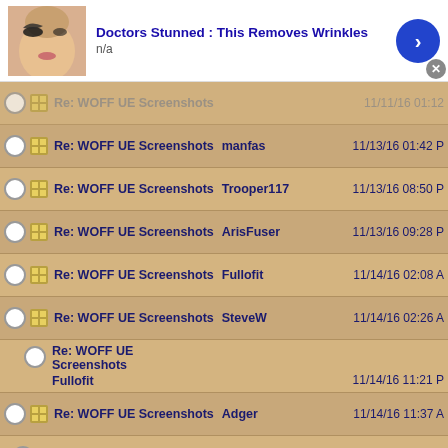[Figure (screenshot): Top ad banner: thumbnail of woman with dramatic eye makeup, title 'Doctors Stunned : This Removes Wrinkles', subtitle 'n/a', blue arrow button, close X]
Re: WOFF UE Screenshots  (clipped top row)  11/11/16 01:12
Re: WOFF UE Screenshots  manfas  11/13/16 01:42 PM
Re: WOFF UE Screenshots  Trooper117  11/13/16 08:50 PM
Re: WOFF UE Screenshots  ArisFuser  11/13/16 09:28 PM
Re: WOFF UE Screenshots  Fullofit  11/14/16 02:08 AM
Re: WOFF UE Screenshots  SteveW  11/14/16 02:26 AM
Re: WOFF UE Screenshots  Fullofit  11/14/16 11:21 PM
Re: WOFF UE Screenshots  Adger  11/14/16 11:37 AM
Re: WOFF UE Screenshots  Hayle55  11/15/16 12:01 AM
Re: WOFF UE Screenshots  Fullofit  11/15/16 12:54 AM
[Figure (screenshot): Bottom ad banner: same ad - thumbnail of woman with dramatic eye makeup, title 'Doctors Stunned : This Removes Wrinkles', subtitle 'n/a', blue arrow button, close X]